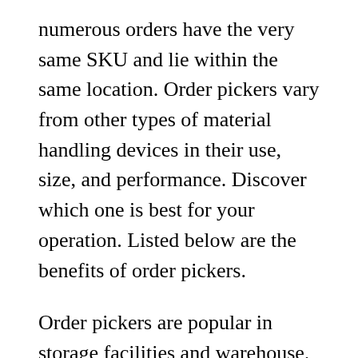numerous orders have the very same SKU and lie within the same location. Order pickers vary from other types of material handling devices in their use, size, and performance. Discover which one is best for your operation. Listed below are the benefits of order pickers.
Order pickers are popular in storage facilities and warehouse. They enable operators to reach high racks and move boxes to the wanted place. The lift includes a cushioned mast for increased operator safety. Operators stand on a platform and